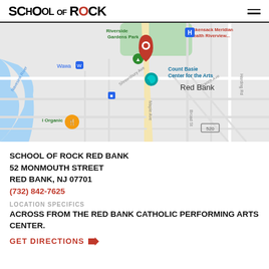SCHOOL OF ROCK
[Figure (map): Google Maps screenshot showing Red Bank, NJ area with a School of Rock pin marker near Count Basie Center for the Arts on Maple Ave. Nearby landmarks include Riverside Gardens Park, Hackensack Meridian Health Riverview, Wawa, Navesink River, and route 520.]
SCHOOL OF ROCK RED BANK
52 MONMOUTH STREET
RED BANK, NJ 07701
(732) 842-7625
LOCATION SPECIFICS
ACROSS FROM THE RED BANK CATHOLIC PERFORMING ARTS CENTER.
GET DIRECTIONS